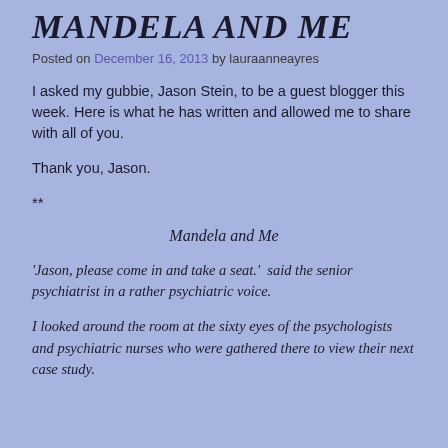Mandela and Me
Posted on December 16, 2013 by lauraanneayres
I asked my gubbie, Jason Stein, to be a guest blogger this week. Here is what he has written and allowed me to share with all of you.
Thank you, Jason.
**
Mandela and Me
‘Jason, please come in and take a seat.’  said the senior psychiatrist in a rather psychiatric voice.
I looked around the room at the sixty eyes of the psychologists and psychiatric nurses who were gathered there to view their next case study.